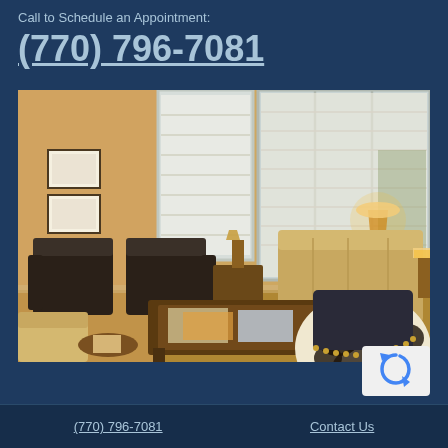Call to Schedule an Appointment:
(770) 796-7081
[Figure (photo): Interior photo of a medical office waiting room with tan/beige sofas, dark armchairs, a wooden coffee table with magazines, a table lamp, large windows with white blinds, and a distinctive black and white cowhide patterned chair in the foreground right.]
(770) 796-7081    Contact Us